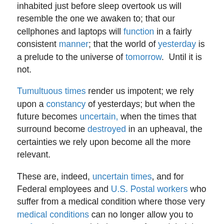inhabited just before sleep overtook us will resemble the one we awaken to; that our cellphones and laptops will function in a fairly consistent manner; that the world of yesterday is a prelude to the universe of tomorrow.  Until it is not.
Tumultuous times render us impotent; we rely upon a constancy of yesterdays; but when the future becomes uncertain, when the times that surround become destroyed in an upheaval, the certainties we rely upon become all the more relevant.
These are, indeed, uncertain times, and for Federal employees and U.S. Postal workers who suffer from a medical condition where those very medical conditions can no longer allow you to perform the essential elements of your job, it is within the context of uncertainties that you